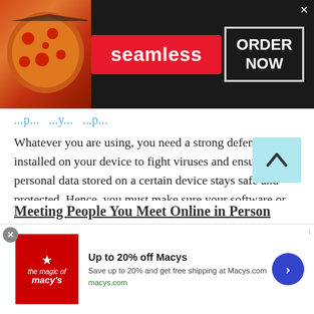[Figure (screenshot): Seamless food delivery advertisement banner with pizza image on left, red Seamless badge in center, and ORDER NOW button on right against dark background]
Whatever you are using, you need a strong defense installed on your device to fight viruses and ensure your personal data stored on a certain device stays safe and protected. Hence, you must make sure your software or security features are always up to date. Do not delay installing the latest versions because these will be your main defense against any virus that you might encounter while using a platform for Hungarian Call App .
Meeting People You Meet Online in Person
[Figure (screenshot): Macy's advertisement banner: Up to 20% off Macys, Save up to 20% and get free shipping at Macys.com, macys.com]